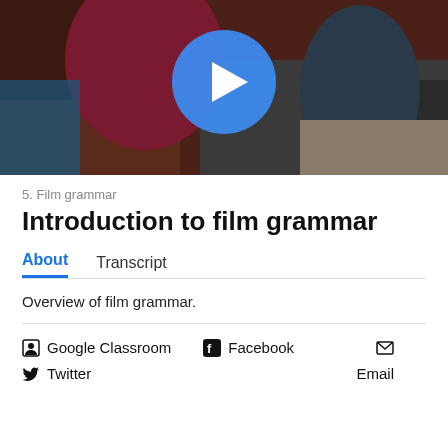[Figure (screenshot): Video thumbnail showing two people in a classroom setting with a blue play button overlay in the center]
5. Film grammar
Introduction to film grammar
About   Transcript
Overview of film grammar.
Google Classroom   Facebook   Email   Twitter